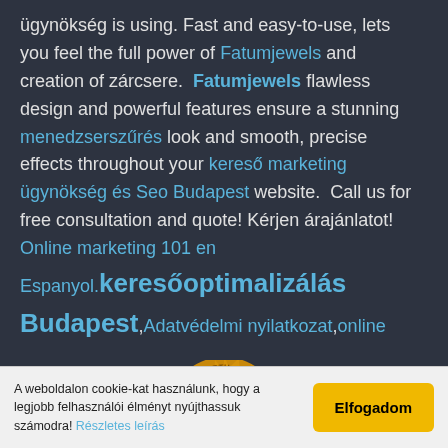ügynökség is using. Fast and easy-to-use, lets you feel the full power of Fatumjewels and creation of zárcsere. Fatumjewels flawless design and powerful features ensure a stunning menedzserszűrés look and smooth, precise effects throughout your kereső marketing ügynökség és Seo Budapest website. Call us for free consultation and quote! Kérjen árajánlatot! Online marketing 101 en Espanyol.keresőoptimalizálás Budapest,Adatvédelmi nyilatkozat,online
[Figure (other): Gold badge seal showing WEBSITE WORTH $2.3K]
A weboldalon cookie-kat használunk, hogy a legjobb felhasználói élményt nyújthassuk számodra! Részletes leírás